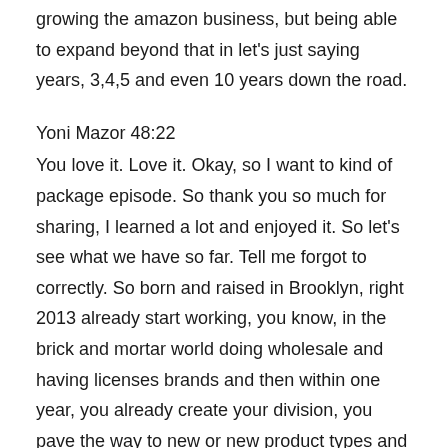growing the amazon business, but being able to expand beyond that in let's just saying years, 3,4,5 and even 10 years down the road.
Yoni Mazor 48:22
You love it. Love it. Okay, so I want to kind of package episode. So thank you so much for sharing, I learned a lot and enjoyed it. So let's see what we have so far. Tell me forgot to correctly. So born and raised in Brooklyn, right 2013 already start working, you know, in the brick and mortar world doing wholesale and having licenses brands and then within one year, you already create your division, you pave the way to new or new product types and make all the mistakes possible that it all clicks away. And you